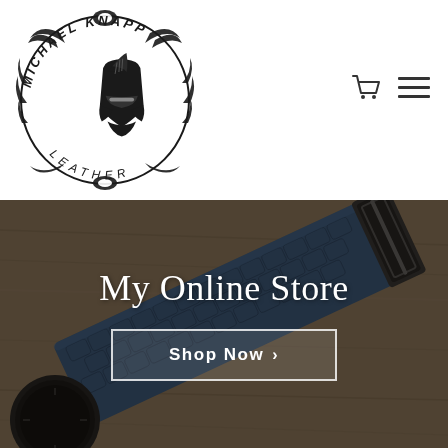[Figure (logo): Michael Knapp Leather circular logo featuring a Spartan helmet in the center, surrounded by ornate dragon/vine border, with text 'MICHAEL KNAPP' around the top and 'LEATHER' at the bottom in stylized lettering]
[Figure (other): Cart icon and hamburger menu icon in the header navigation area]
[Figure (photo): Hero section background photo showing a blue crocodile-textured leather watch strap with a dark metal buckle, lying on a wooden surface]
My Online Store
Shop Now ›